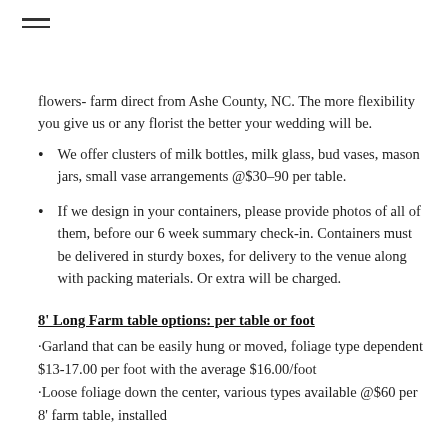flowers- farm direct from Ashe County, NC. The more flexibility you give us or any florist the better your wedding will be.
We offer clusters of milk bottles, milk glass, bud vases, mason jars, small vase arrangements @$30-90 per table.
If we design in your containers, please provide photos of all of them, before our 6 week summary check-in. Containers must be delivered in sturdy boxes, for delivery to the venue along with packing materials. Or extra will be charged.
8’ Long Farm table options: per table or foot
·Garland that can be easily hung or moved, foliage type dependent $13-17.00 per foot with the average $16.00/foot
·Loose foliage down the center, various types available @$60 per 8’ farm table, installed